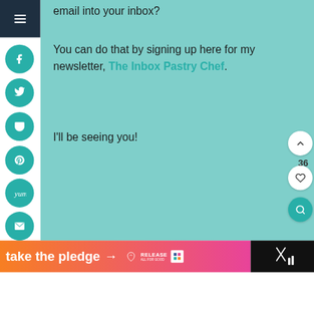email into your inbox?
You can do that by signing up here for my newsletter, The Inbox Pastry Chef.
I'll be seeing you!
[Figure (screenshot): Bottom banner with orange-to-pink gradient reading 'take the pledge' with arrow and logos on right]
36